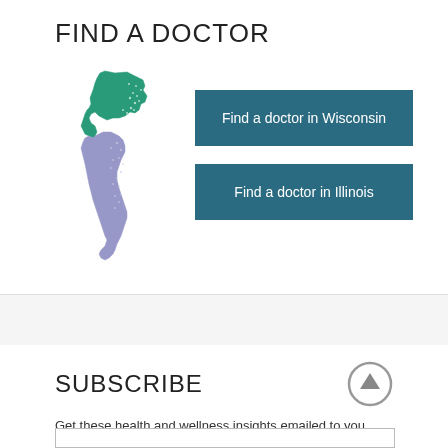FIND A DOCTOR
[Figure (map): Map showing Wisconsin (green, upper portion) and Illinois (purple/lavender, lower portion) states side by side, with dotted pattern along border areas]
Find a doctor in Wisconsin
Find a doctor in Illinois
SUBSCRIBE
Get these health and wellness insights emailed to you daily.